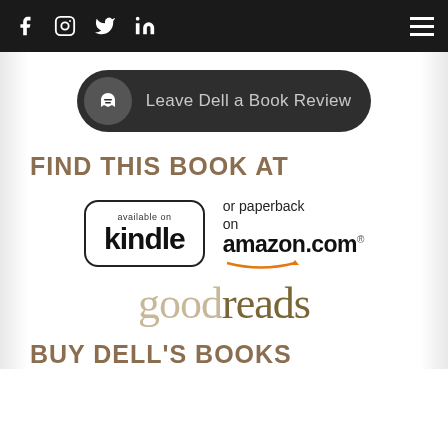Navigation bar with social icons (Facebook, Instagram, Twitter, LinkedIn) and hamburger menu
[Figure (other): Dark rounded button with book/reader icon and text 'Leave Dell a Book Review']
FIND THIS BOOK AT
[Figure (logo): Available on Kindle logo with border, and amazon.com logo with smile arrow, text 'or paperback on']
[Figure (logo): Goodreads logo in tan/brown serif font]
BUY DELL'S BOOKS